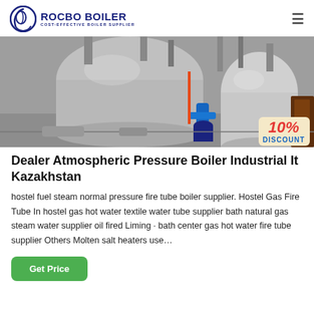ROCBO BOILER — COST-EFFECTIVE BOILER SUPPLIER
[Figure (photo): Industrial boilers in a factory setting, showing large cylindrical pressure vessels, pipes, and equipment. A 10% DISCOUNT badge appears in the bottom-right corner.]
Dealer Atmospheric Pressure Boiler Industrial It Kazakhstan
hostel fuel steam normal pressure fire tube boiler supplier. Hostel Gas Fire Tube In hostel gas hot water textile water tube supplier bath natural gas steam water supplier oil fired Liming · bath center gas hot water fire tube supplier Others Molten salt heaters use…
Get Price